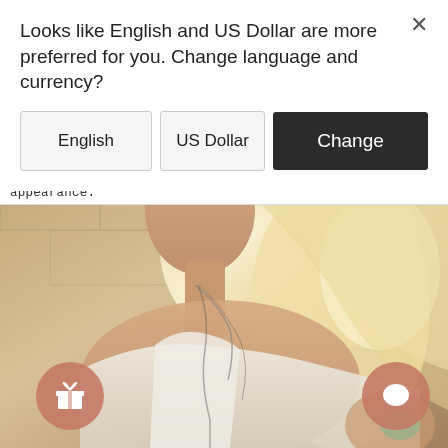Looks like English and US Dollar are more preferred for you. Change language and currency?
[Figure (screenshot): Modal dialog with English language button, US Dollar button, and dark Change button]
shorter necklace could balance very well your overall appearance.
[Figure (photo): Blonde woman wearing layered necklaces, white lace top, boho style, outdoor stone background]